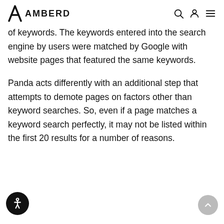AMBERD
of keywords. The keywords entered into the search engine by users were matched by Google with website pages that featured the same keywords.
Panda acts differently with an additional step that attempts to demote pages on factors other than keyword searches. So, even if a page matches a keyword search perfectly, it may not be listed within the first 20 results for a number of reasons.